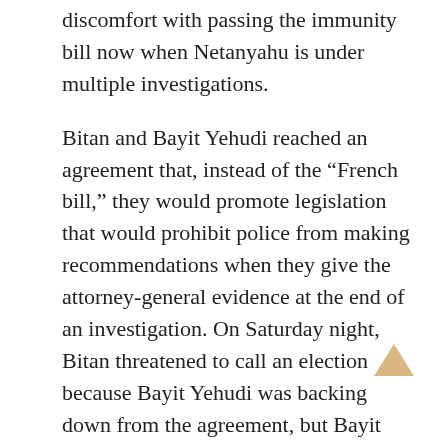discomfort with passing the immunity bill now when Netanyahu is under multiple investigations.
Bitan and Bayit Yehudi reached an agreement that, instead of the “French bill,” they would promote legislation that would prohibit police from making recommendations when they give the attorney-general evidence at the end of an investigation. On Saturday night, Bitan threatened to call an election because Bayit Yehudi was backing down from the agreement, but Bayit Yehudi said nothing had changed on their end.
The coalition chairman was heard raging at Bayit Yehudi outside Sunday’s cabinet meeting.
“Bayit Yehudi are a bunch of liars. If they want, we will bring down the government over the bill to prevent the prime minister’s investigations,” Bitan